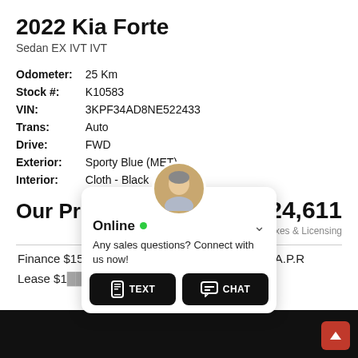2022 Kia Forte
Sedan EX IVT IVT
| Odometer: | 25 Km |
| Stock #: | K10583 |
| VIN: | 3KPF34AD8NE522433 |
| Trans: | Auto |
| Drive: | FWD |
| Exterior: | Sporty Blue (MET) |
| Interior: | Cloth - Black |
Our Price   $24,611
Plus Taxes & Licensing
Finance $155/bw 0 down 84 month term, 3.99% A.P.R
Lease $1… A.P.R
[Figure (screenshot): Chat widget overlay with avatar, Online status indicator, sales prompt text, TEXT and CHAT buttons, and a red scroll-to-top button]